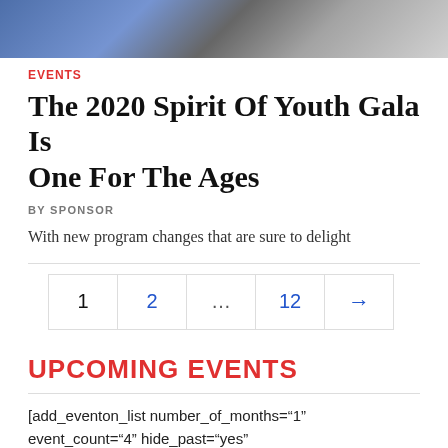[Figure (photo): Cropped photo showing people, partially visible at the top of the page]
EVENTS
The 2020 Spirit Of Youth Gala Is One For The Ages
BY SPONSOR
With new program changes that are sure to delight
1  2  ...  12  →
UPCOMING EVENTS
[add_eventon_list number_of_months="1" event_count="4" hide_past="yes" ft_event_priority="yes"